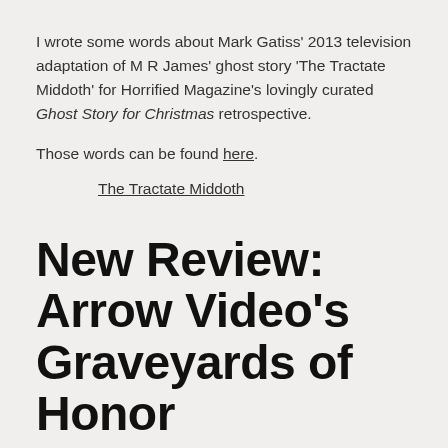I wrote some words about Mark Gatiss' 2013 television adaptation of M R James' ghost story 'The Tractate Middoth' for Horrified Magazine's lovingly curated Ghost Story for Christmas retrospective.
Those words can be found here.
The Tractate Middoth
New Review: Arrow Video's Graveyards of Honor
by Admin · November 19, 2020 · leave a comment
… containing Fukasaku Kinji's Graveyard of Honor (1974)